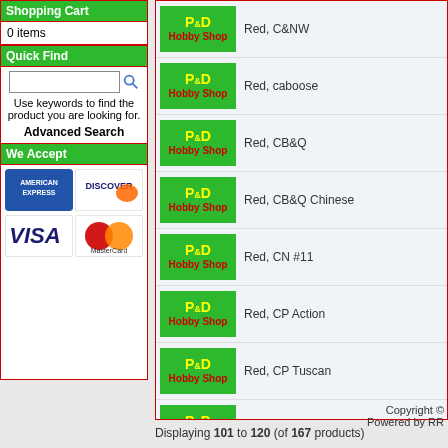Shopping Cart
0 items
Quick Find
Use keywords to find the product you are looking for.
Advanced Search
We Accept
[Figure (logo): American Express, Discover, Visa, MasterCard payment logos]
[Figure (logo): P&D Hobby Shop logo - Red, C&NW]
[Figure (logo): P&D Hobby Shop logo - Red, caboose]
[Figure (logo): P&D Hobby Shop logo - Red, CB&Q]
[Figure (logo): P&D Hobby Shop logo - Red, CB&Q Chinese]
[Figure (logo): P&D Hobby Shop logo - Red, CN #11]
[Figure (logo): P&D Hobby Shop logo - Red, CP Action]
[Figure (logo): P&D Hobby Shop logo - Red, CP Tuscan]
[Figure (logo): P&D Hobby Shop logo - Red, dark tuscan oxide]
Displaying 101 to 120 (of 167 products)
Copyright © Powered by RR